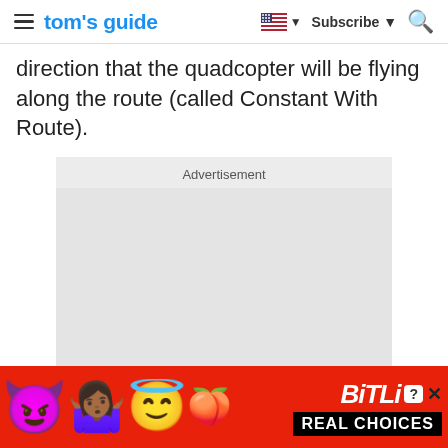tom's guide | Subscribe
direction that the quadcopter will be flying along the route (called Constant With Route).
[Figure (other): Advertisement placeholder box with grey background]
[Figure (other): Bottom banner advertisement for BitLife game showing emojis, BitLife logo and REAL CHOICES text on red background]